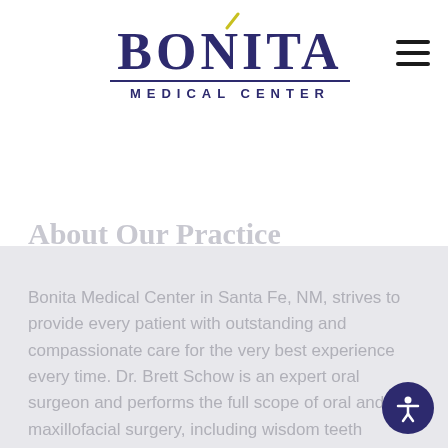[Figure (logo): Bonita Medical Center logo with stylized yellow accent mark above the 'i' in BONITA, bold serif text for BONITA, and smaller tracking text MEDICAL CENTER below with a horizontal rule]
About Our Practice
Bonita Medical Center in Santa Fe, NM, strives to provide every patient with outstanding and compassionate care for the very best experience every time. Dr. Brett Schow is an expert oral surgeon and performs the full scope of oral and maxillofacial surgery, including wisdom teeth removal and dental implant placement. We provide many options for anesthesia to ensure the safest and most comfortable procedure possible. Bonita Medical Center also offers several cosmetic services in the comfort of our practice, including Botox, microneedling, and laser skin rejuvenation.